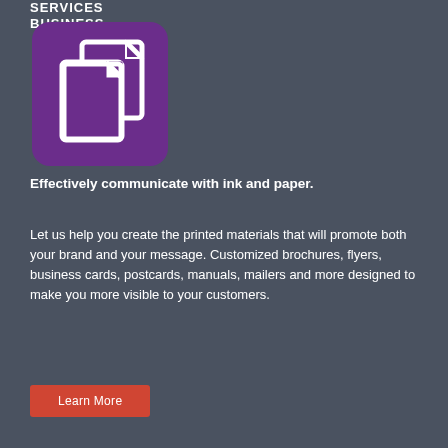SERVICES BUSINESS
[Figure (illustration): Purple rounded square icon containing two overlapping white document/paper icons]
Effectively communicate with ink and paper.
Let us help you create the printed materials that will promote both your brand and your message. Customized brochures, flyers, business cards, postcards, manuals, mailers and more designed to make you more visible to your customers.
Learn More